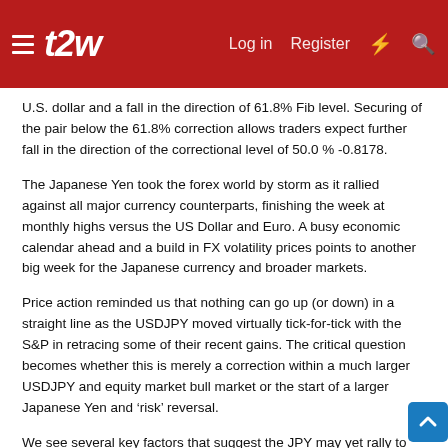t2w | Log in | Register
U.S. dollar and a fall in the direction of 61.8% Fib level. Securing of the pair below the 61.8% correction allows traders expect further fall in the direction of the correctional level of 50.0 % -0.8178.
The Japanese Yen took the forex world by storm as it rallied against all major currency counterparts, finishing the week at monthly highs versus the US Dollar and Euro. A busy economic calendar ahead and a build in FX volatility prices points to another big week for the Japanese currency and broader markets.
Price action reminded us that nothing can go up (or down) in a straight line as the USDJPY moved virtually tick-for-tick with the S&P in retracing some of their recent gains. The critical question becomes whether this is merely a correction within a much larger USDJPY and equity market bull market or the start of a larger Japanese Yen and ‘risk’ reversal.
We see several key factors that suggest the JPY may yet rally to fresh highs versus the Euro and US Dollar. Yet the coming